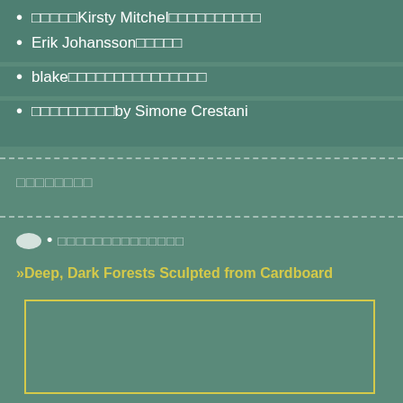□□□□□Kirsty Mitchel□□□□□□□□□□
Erik Johansson□□□□□
blake□□□□□□□□□□□□□□□
□□□□□□□□□by Simone Crestani
□□□□□□□□
□□□□□□□□□□□□□□
»Deep, Dark Forests Sculpted from Cardboard
[Figure (other): Yellow-bordered image placeholder box]